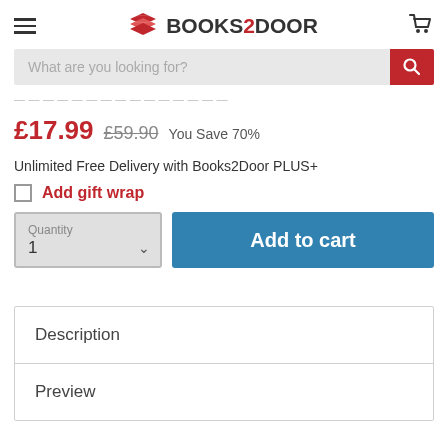[Figure (logo): Books2Door logo with red stacked books icon and text BOOKS2DOOR]
What are you looking for?
£17.99  £59.90  You Save 70%
Unlimited Free Delivery with Books2Door PLUS+
Add gift wrap
Quantity 1 / Add to cart
Description
Preview